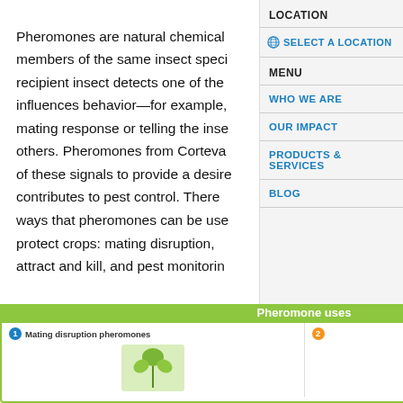Pheromones are natural chemical messages exchanged among members of the same insect species. When a recipient insect detects one of these chemical messages, it influences behavior—for example, triggering a mating response or telling the insect to avoid others. Pheromones from Corteva mimic these natural cues of these signals to provide a desired behavioral effect that contributes to pest control. There are three main ways that pheromones can be used to monitor and protect crops: mating disruption, mass trapping, attract and kill, and pest monitoring.
LOCATION
SELECT A LOCATION
MENU
WHO WE ARE
OUR IMPACT
PRODUCTS & SERVICES
BLOG
[Figure (infographic): Infographic titled 'Pheromone uses' showing numbered categories including '1 Mating disruption pheromones' and '2' (partially visible), with a green plant image below category 1.]